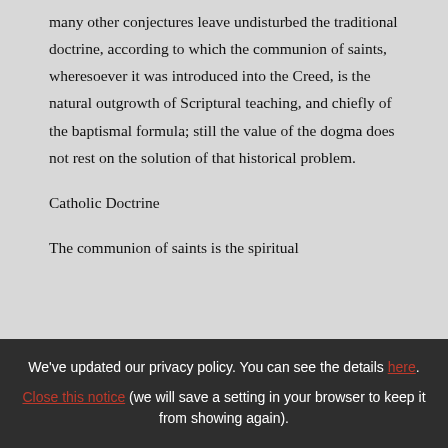many other conjectures leave undisturbed the traditional doctrine, according to which the communion of saints, wheresoever it was introduced into the Creed, is the natural outgrowth of Scriptural teaching, and chiefly of the baptismal formula; still the value of the dogma does not rest on the solution of that historical problem.
Catholic Doctrine
The communion of saints is the spiritual
We've updated our privacy policy. You can see the details here. Close this notice (we will save a setting in your browser to keep it from showing again).